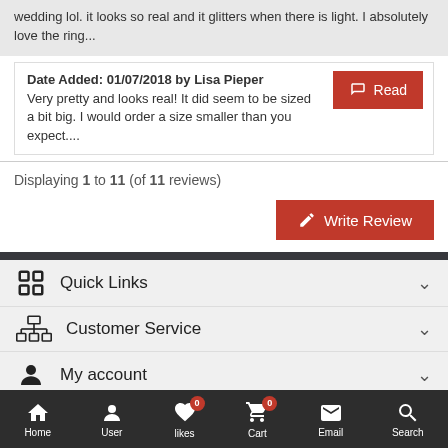wedding lol. it looks so real and it glitters when there is light. I absolutely love the ring...
Date Added: 01/07/2018 by Lisa Pieper — Very pretty and looks real! It did seem to be sized a bit big. I would order a size smaller than you expect....
Displaying 1 to 11 (of 11 reviews)
Write Review
Quick Links
Customer Service
My account
Contact us
Copyright © 2022 cosyjewelry.com Footer Text Body
Home | User | likes (0) | Cart (0) | Email | Search